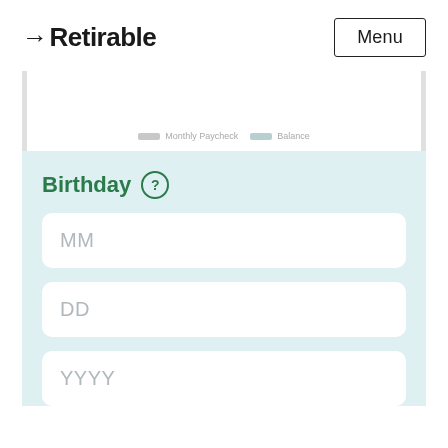→Retirable
[Figure (other): Partial chart area with legend showing Monthly Paycheck and Balance labels]
Birthday ?
MM
DD
YYYY